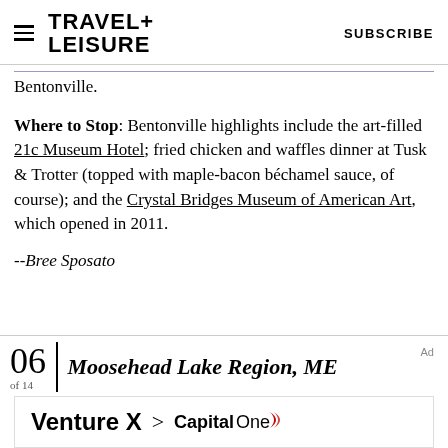TRAVEL+ LEISURE   SUBSCRIBE
Bentonville.
Where to Stop: Bentonville highlights include the art-filled 21c Museum Hotel; fried chicken and waffles dinner at Tusk & Trotter (topped with maple-bacon béchamel sauce, of course); and the Crystal Bridges Museum of American Art, which opened in 2011.
--Bree Sposato
06 Moosehead Lake Region, ME
[Figure (screenshot): Capital One Venture X advertisement banner showing 'Venture X > CapitalOne' logo]